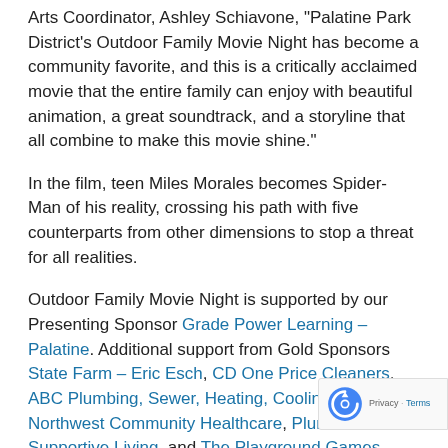Arts Coordinator, Ashley Schiavone, "Palatine Park District's Outdoor Family Movie Night has become a community favorite, and this is a critically acclaimed movie that the entire family can enjoy with beautiful animation, a great soundtrack, and a storyline that all combine to make this movie shine."
In the film, teen Miles Morales becomes Spider-Man of his reality, crossing his path with five counterparts from other dimensions to stop a threat for all realities.
Outdoor Family Movie Night is supported by our Presenting Sponsor Grade Power Learning – Palatine. Additional support from Gold Sponsors State Farm – Eric Esch, CD One Price Cleaners, ABC Plumbing, Sewer, Heating, Cooling, & Electric, Northwest Community Healthcare, Plum Creek Supportive Living, and The Playground Games.
For more information about Outdoor Family Movie Night, contact Cultural Arts Coordinator Ashley Schiavone at 847.496.6237. For weather cancellation, call 847.705.5123